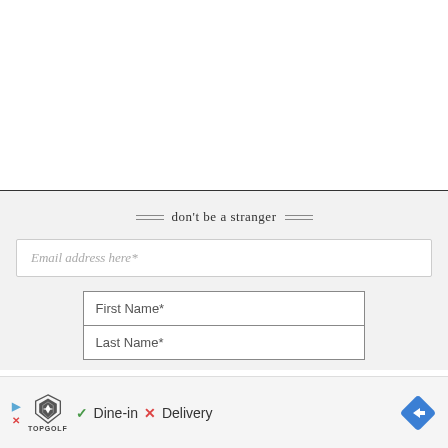don't be a stranger
Email address here*
First Name*
Last Name*
[Figure (logo): TopGolf advertisement bar with Dine-in checkmark and Delivery X mark, navigation diamond icon]